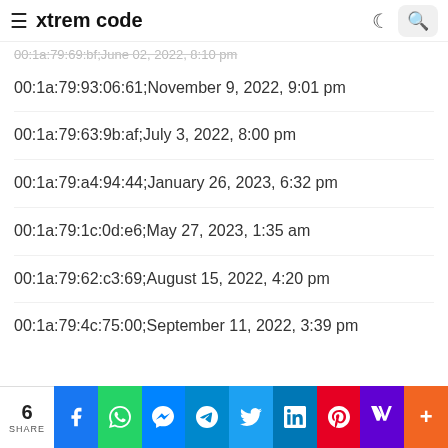≡ xtrem code
00:1a:79:69:bf;June 02, 2022, 8:10 pm
00:1a:79:93:06:61;November 9, 2022, 9:01 pm
00:1a:79:63:9b:af;July 3, 2022, 8:00 pm
00:1a:79:a4:94:44;January 26, 2023, 6:32 pm
00:1a:79:1c:0d:e6;May 27, 2023, 1:35 am
00:1a:79:62:c3:69;August 15, 2022, 4:20 pm
00:1a:79:4c:75:00;September 11, 2022, 3:39 pm
6 SHARE | Facebook | WhatsApp | Messenger | Telegram | Twitter | LinkedIn | Pinterest | Yahoo | More